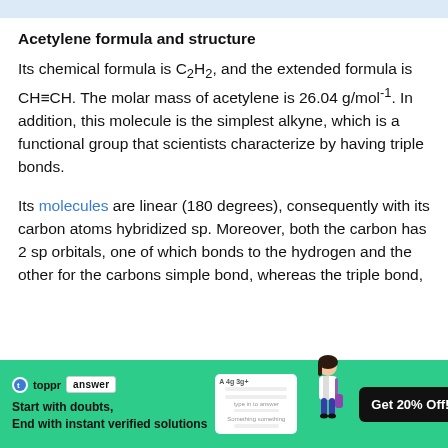Acetylene formula and structure
Its chemical formula is C₂H₂, and the extended formula is CH≡CH. The molar mass of acetylene is 26.04 g/mol⁻¹. In addition, this molecule is the simplest alkyne, which is a functional group that scientists characterize by having triple bonds.
Its molecules are linear (180 degrees), consequently with its carbon atoms hybridized sp. Moreover, both the carbon has 2 sp orbitals, one of which bonds to the hydrogen and the other for the carbons simple bond, whereas the triple bond,
[Figure (infographic): Toppr answer promotional advertisement banner with green background featuring logo, answer badge, tagline 'Start with doubts, End with instant verified solutions', a card illustration, a girl student, and 'Get 20% Off!' button]